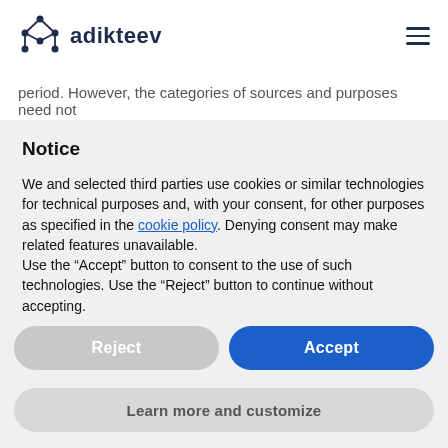[Figure (logo): Adikteev logo: network/dots icon on the left and 'adikteev' text on the right in dark navy blue]
period. However, the categories of sources and purposes need not
Notice
We and selected third parties use cookies or similar technologies for technical purposes and, with your consent, for other purposes as specified in the cookie policy. Denying consent may make related features unavailable.
Use the “Accept” button to consent to the use of such technologies. Use the “Reject” button to continue without accepting.
Reject
Accept
Learn more and customize